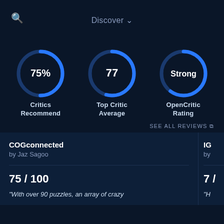Discover ∨
[Figure (donut-chart): Critics Recommend]
[Figure (donut-chart): Top Critic Average]
[Figure (donut-chart): OpenCritic Rating]
SEE ALL REVIEWS ↗
COGconnected
by Jaz Sagoo
IG
by
75 / 100
7 /
"With over 90 puzzles, an array of crazy
"H